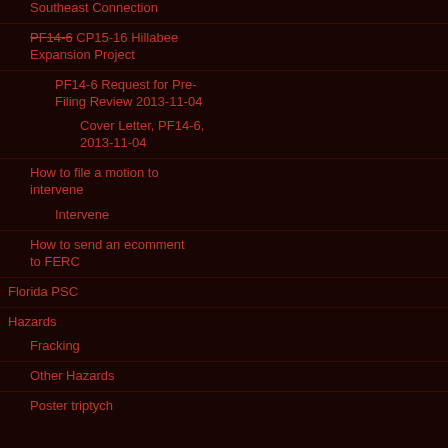PF14-12 & PF14-63 Sabal Trail & Southeast Connection
PF14-6 CP15-16 Hillabee Expansion Project
PF14-6 Request for Pre-Filing Review 2013-11-04
Cover Letter, PF14-6, 2013-11-04
How to file a motion to intervene
Intervene
How to send an ecomment to FERC
Florida PSC
Hazards
Fracking
Other Hazards
Poster triptych